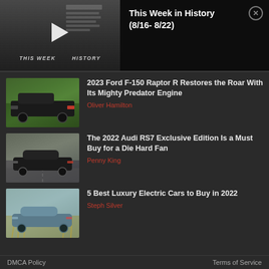[Figure (screenshot): Video thumbnail showing 'THIS WEEK IN HISTORY' with play button overlay on a dark background with newspaper texture]
This Week in History (8/16- 8/22)
[Figure (photo): 2023 Ford F-150 Raptor R truck in dark color on road, outdoor setting with green trees]
2023 Ford F-150 Raptor R Restores the Roar With Its Mighty Predator Engine
Oliver Hamilton
[Figure (photo): 2022 Audi RS7 in dark/black color driving on road with trees in background]
The 2022 Audi RS7 Exclusive Edition Is a Must Buy for a Die Hard Fan
Penny King
[Figure (photo): Luxury electric car in blue/grey color in a field of wheat or grain]
5 Best Luxury Electric Cars to Buy in 2022
Steph Silver
DMCA Policy    Terms of Service